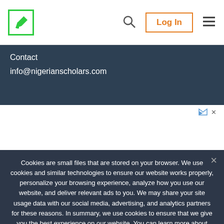[Figure (logo): Nigerian Scholars logo — green bordered square with pencil/writing icon]
[Figure (other): Search icon (magnifying glass)]
[Figure (other): Log In button with orange border]
[Figure (other): Hamburger menu icon]
Contact
info@nigerianscholars.com
[Figure (other): Advertisement area with ad choice icons]
Cookies are small files that are stored on your browser. We use cookies and similar technologies to ensure our website works properly, personalize your browsing experience, analyze how you use our website, and deliver relevant ads to you. We may share your site usage data with our social media, advertising, and analytics partners for these reasons. In summary, we use cookies to ensure that we give you the best experience on our website. You can learn more about how we use cookies by visiting our privacy policy page.
Okay
Privacy policy